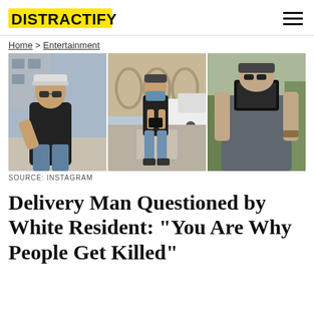DISTRACTIFY
Home > Entertainment
[Figure (photo): Three photographs of a man: left photo shows a man in a white cap and sunglasses gesturing on a sidewalk; center photo shows a man in a blue mask standing on a sidewalk near a white truck; right photo shows a man in a grey shirt taking a mirror selfie with a smartphone.]
SOURCE: INSTAGRAM
Delivery Man Questioned by White Resident: "You Are Why People Get Killed"